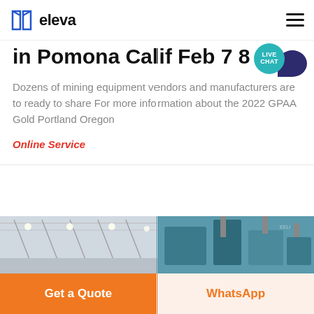eleva
in Pomona Calif Feb 7 8
Dozens of mining equipment vendors and manufacturers are to ready to share For more information about the 2022 GPAA Gold Portland Oregon
Online Service
[Figure (photo): Two side-by-side photos: left shows an industrial building interior with high ceiling and lighting; right shows industrial equipment against a teal/blue background.]
Get a Quote
WhatsApp